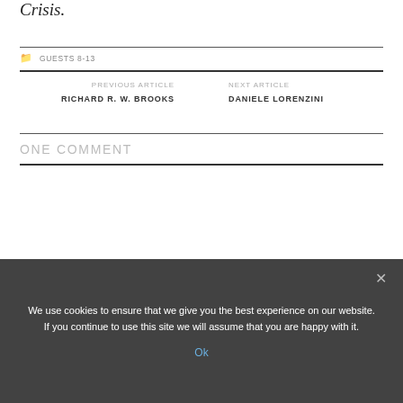Crisis.
GUESTS 8-13
PREVIOUS ARTICLE
RICHARD R. W. BROOKS
NEXT ARTICLE
DANIELE LORENZINI
ONE COMMENT
We use cookies to ensure that we give you the best experience on our website. If you continue to use this site we will assume that you are happy with it.
Ok